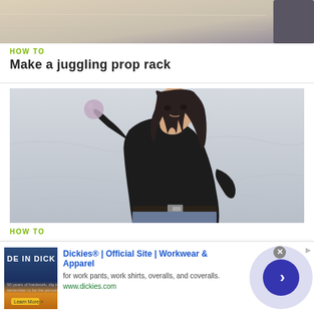[Figure (photo): Top portion of a video thumbnail showing a room interior with light beige/cream background and a dark shadow in upper right corner]
HOW TO
Make a juggling prop rack
[Figure (photo): A man with long dark hair wearing a black long-sleeve shirt and jeans with a belt, holding up a ball in his right hand against a white/grey fabric backdrop, appearing to demonstrate juggling]
HOW TO
[Figure (other): Advertisement banner for Dickies® workwear showing a product image on the left, ad text in the center reading 'Dickies® | Official Site | Workwear & Apparel / for work pants, work shirts, overalls, and coveralls. / www.dickies.com', and a navigation arrow button on the right]